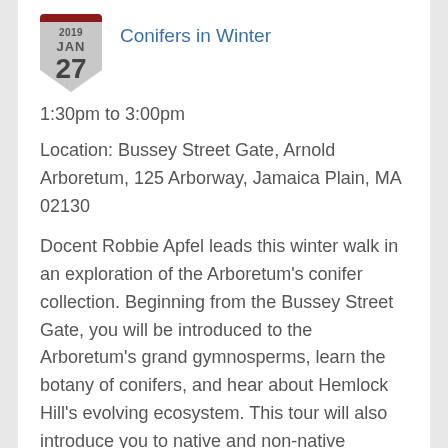[Figure (illustration): Shield/badge calendar icon showing date 2019 JAN 27 with dark red top bar and grey shield shape]
Conifers in Winter
1:30pm to 3:00pm
Location: Bussey Street Gate, Arnold Arboretum, 125 Arborway, Jamaica Plain, MA 02130
Docent Robbie Apfel leads this winter walk in an exploration of the Arboretum's conifer collection. Beginning from the Bussey Street Gate, you will be introduced to the Arboretum's grand gymnosperms, learn the botany of conifers, and hear about Hemlock Hill's evolving ecosystem. This tour will also introduce you to native and non-native conifers in the winter landscape.